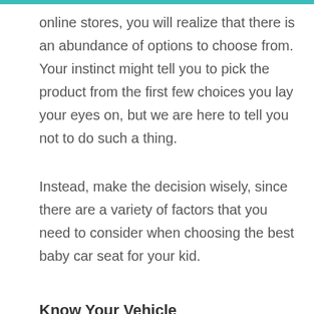online stores, you will realize that there is an abundance of options to choose from. Your instinct might tell you to pick the product from the first few choices you lay your eyes on, but we are here to tell you not to do such a thing.
Instead, make the decision wisely, since there are a variety of factors that you need to consider when choosing the best baby car seat for your kid.
Know Your Vehicle